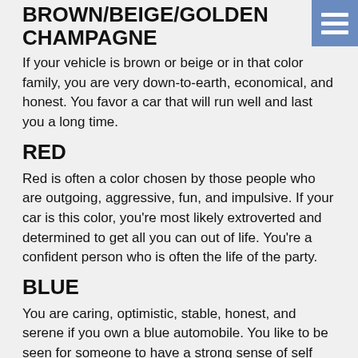BROWN/BEIGE/GOLDEN CHAMPAGNE
If your vehicle is brown or beige or in that color family, you are very down-to-earth, economical, and honest. You favor a car that will run well and last you a long time.
RED
Red is often a color chosen by those people who are outgoing, aggressive, fun, and impulsive. If your car is this color, you're most likely extroverted and determined to get all you can out of life. You're a confident person who is often the life of the party.
BLUE
You are caring, optimistic, stable, honest, and serene if you own a blue automobile. You like to be seen for someone to have a strong sense of self and balance.
We hope this was fun! If you require any automotive repairs or services, please give us a call or visit Bock Automotive today!